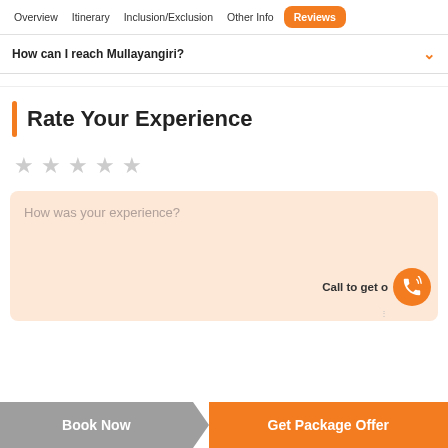Overview | Itinerary | Inclusion/Exclusion | Other Info | Reviews
How can I reach Mullayangiri?
Rate Your Experience
★ ★ ★ ★ ★ (empty star rating)
How was your experience?
Call to get offer
Book Now | Get Package Offer